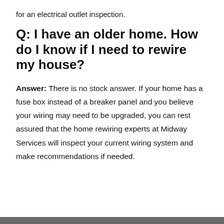for an electrical outlet inspection.
Q: I have an older home. How do I know if I need to rewire my house?
Answer: There is no stock answer. If your home has a fuse box instead of a breaker panel and you believe your wiring may need to be upgraded, you can rest assured that the home rewiring experts at Midway Services will inspect your current wiring system and make recommendations if needed.